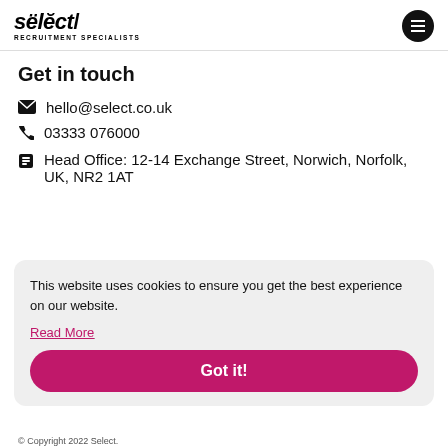select/ RECRUITMENT SPECIALISTS
Get in touch
hello@select.co.uk
03333 076000
Head Office: 12-14 Exchange Street, Norwich, Norfolk, UK, NR2 1AT
This website uses cookies to ensure you get the best experience on our website.
Read More
Got it!
© Copyright 2022 Select.